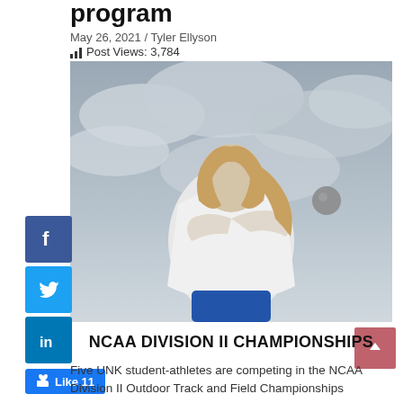program
May 26, 2021 / Tyler Ellyson
Post Views: 3,784
[Figure (photo): Female athlete throwing shot put against cloudy sky background]
NCAA DIVISION II CHAMPIONSHIPS
Five UNK student-athletes are competing in the NCAA Division II Outdoor Track and Field Championships